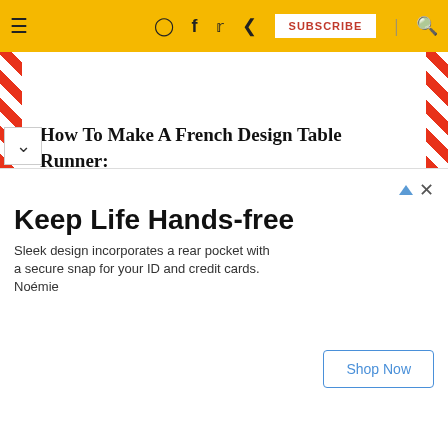≡ (instagram) (facebook) (twitter) (pinterest) SUBSCRIBE | (search)
How To Make A French Design Table Runner:
( I have also provided a link below to a great tutorial)
1. Determine the size of your table runner
2. Mark your French design fabric to determined finished and length plus 1 inch.
Keep Life Hands-free
Sleek design incorporates a rear pocket with a secure snap for your ID and credit cards. Noémie